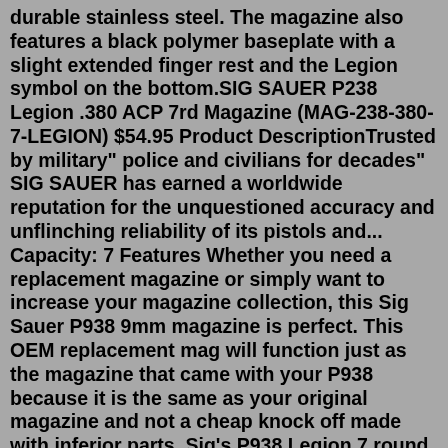durable stainless steel. The magazine also features a black polymer baseplate with a slight extended finger rest and the Legion symbol on the bottom.SIG SAUER P238 Legion .380 ACP 7rd Magazine (MAG-238-380-7-LEGION) $54.95 Product DescriptionTrusted by military" police and civilians for decades" SIG SAUER has earned a worldwide reputation for the unquestioned accuracy and unflinching reliability of its pistols and... Capacity: 7 Features Whether you need a replacement magazine or simply want to increase your magazine collection, this Sig Sauer P938 9mm magazine is perfect. This OEM replacement mag will function just as the magazine that came with your P938 because it is the same as your original magazine and not a cheap knock off made with inferior parts. Sig's P938 Legion 7 round magazine has an updated designed floor plate / base contoured to insert into the P938 Legion. Specifications: - Fits: Sig Sauer P938 - Model: P938 Legion Magazine - Type: Detachable - Material: Stainless Steel - Finish: Stainless - Caliber: 9mm